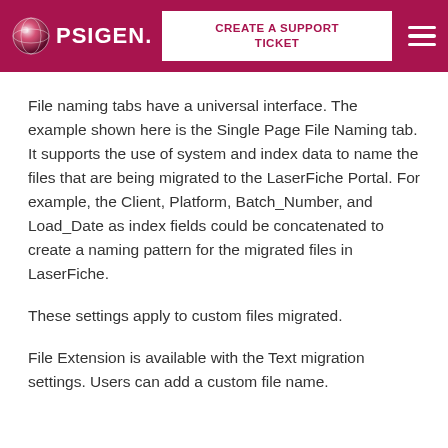PSIGEN. | CREATE A SUPPORT TICKET
File naming tabs have a universal interface. The example shown here is the Single Page File Naming tab. It supports the use of system and index data to name the files that are being migrated to the LaserFiche Portal. For example, the Client, Platform, Batch_Number, and Load_Date as index fields could be concatenated to create a naming pattern for the migrated files in LaserFiche.
These settings apply to custom files migrated.
File Extension is available with the Text migration settings. Users can add a custom file name.